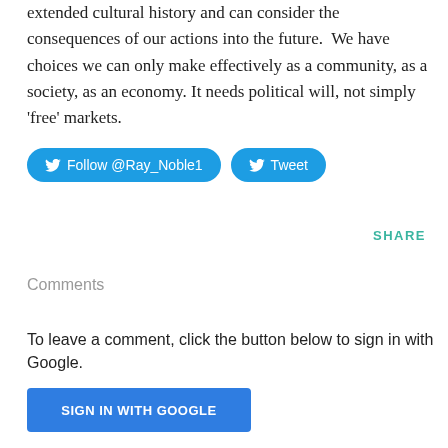extended cultural history and can consider the consequences of our actions into the future.  We have choices we can only make effectively as a community, as a society, as an economy. It needs political will, not simply 'free' markets.
[Figure (other): Two Twitter buttons: 'Follow @Ray_Noble1' and 'Tweet', both with Twitter bird icons, styled in blue with rounded pill shape]
SHARE
Comments
To leave a comment, click the button below to sign in with Google.
[Figure (other): Blue rectangular button labeled 'SIGN IN WITH GOOGLE' in white bold text]